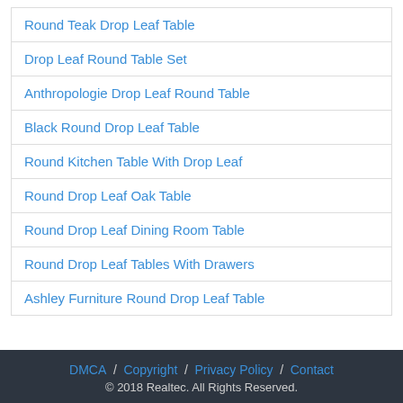Round Teak Drop Leaf Table
Drop Leaf Round Table Set
Anthropologie Drop Leaf Round Table
Black Round Drop Leaf Table
Round Kitchen Table With Drop Leaf
Round Drop Leaf Oak Table
Round Drop Leaf Dining Room Table
Round Drop Leaf Tables With Drawers
Ashley Furniture Round Drop Leaf Table
DMCA / Copyright / Privacy Policy / Contact © 2018 Realtec. All Rights Reserved.